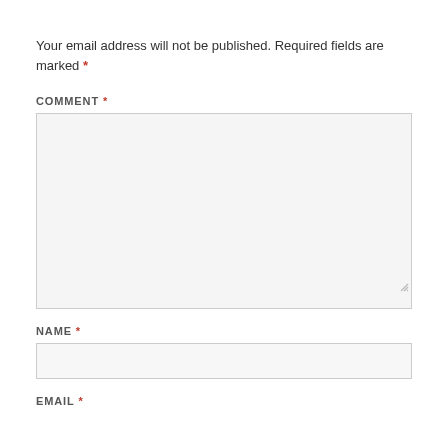Your email address will not be published. Required fields are marked *
COMMENT *
[Figure (other): Large comment textarea input field with light gray background and resize handle]
NAME *
[Figure (other): Single-line text input field for name with light gray background]
EMAIL *